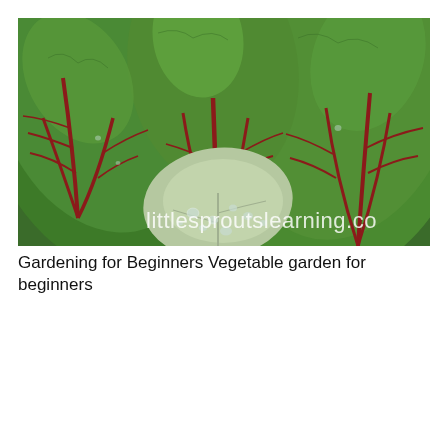[Figure (photo): Close-up photograph of large green swiss chard leaves with prominent red veins and stems, with water droplets visible. A watermark reads 'littlesproutslearning.co' in white handwriting-style text across the lower portion of the image.]
Gardening for Beginners Vegetable garden for beginners